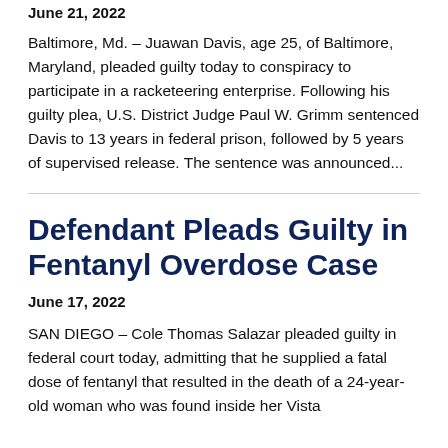June 21, 2022
Baltimore, Md. – Juawan Davis, age 25, of Baltimore, Maryland, pleaded guilty today to conspiracy to participate in a racketeering enterprise. Following his guilty plea, U.S. District Judge Paul W. Grimm sentenced Davis to 13 years in federal prison, followed by 5 years of supervised release. The sentence was announced...
Defendant Pleads Guilty in Fentanyl Overdose Case
June 17, 2022
SAN DIEGO – Cole Thomas Salazar pleaded guilty in federal court today, admitting that he supplied a fatal dose of fentanyl that resulted in the death of a 24-year-old woman who was found inside her Vista